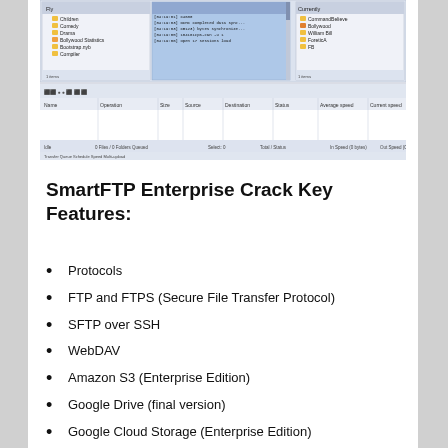[Figure (screenshot): Screenshot of SmartFTP Enterprise application showing file browser interface with folder tree, file listings, and transfer queue panels.]
SmartFTP Enterprise Crack Key Features:
Protocols
FTP and FTPS (Secure File Transfer Protocol)
SFTP over SSH
WebDAV
Amazon S3 (Enterprise Edition)
Google Drive (final version)
Google Cloud Storage (Enterprise Edition)
Backblaze B2 Cloud Storage